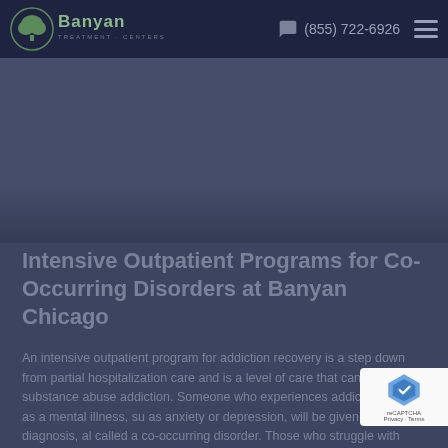Banyan Treatment Centers — (855) 722-6926
[Figure (screenshot): Hero banner image with dark blue-gray overlay]
Intensive Outpatient Programs for Co-Occurring Disorders at Banyan Chicago
An intensive outpatient program for addiction recovery is a step down from partial hospitalization care and is a level of care that can treat substance abuse addiction. Someone who experiences addiction as well as a mental illness, such as anxiety or depression, will be given a dual diagnosis, also called a co-occurring disorder. Those who struggle with